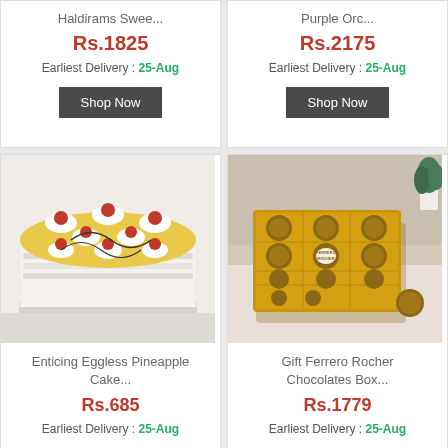Haldirams Swee...
Rs.1825
Earliest Delivery : 25-Aug
Shop Now
Purple Orc...
Rs.2175
Earliest Delivery : 25-Aug
Shop Now
[Figure (photo): Enticing Eggless Pineapple Cake with cherry toppings on white cream and yellow base]
Enticing Eggless Pineapple Cake...
Rs.685
Earliest Delivery : 25-Aug
[Figure (photo): Gift Ferrero Rocher Chocolates Box with golden foil wrapped chocolates in a box]
Gift Ferrero Rocher Chocolates Box...
Rs.1779
Earliest Delivery : 25-Aug